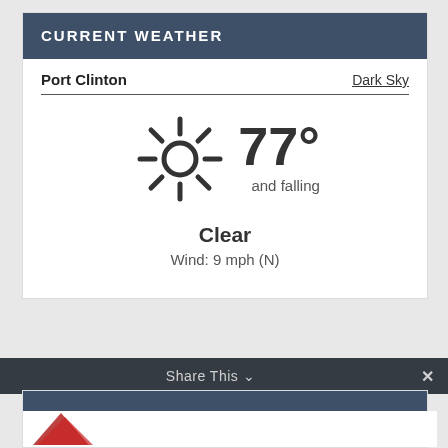CURRENT WEATHER
Port Clinton
Dark Sky
[Figure (infographic): Sun icon with rays, showing 77° and falling, Clear, Wind: 9 mph (N)]
77°
and falling
Clear
Wind: 9 mph (N)
Share This ∨  ×